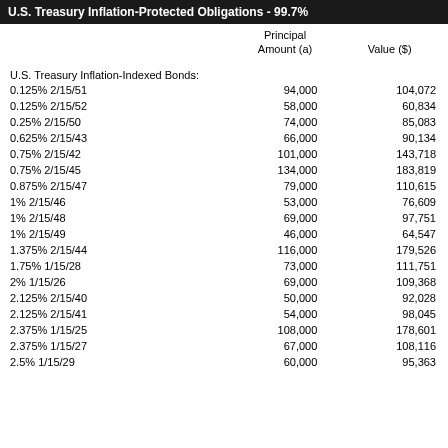U.S. Treasury Inflation-Protected Obligations - 99.7%
|  | Principal Amount (a) | Value ($) |
| --- | --- | --- |
| U.S. Treasury Inflation-Indexed Bonds: |  |  |
| 0.125% 2/15/51 | 94,000 | 104,072 |
| 0.125% 2/15/52 | 58,000 | 60,834 |
| 0.25% 2/15/50 | 74,000 | 85,083 |
| 0.625% 2/15/43 | 66,000 | 90,134 |
| 0.75% 2/15/42 | 101,000 | 143,718 |
| 0.75% 2/15/45 | 134,000 | 183,819 |
| 0.875% 2/15/47 | 79,000 | 110,615 |
| 1% 2/15/46 | 53,000 | 76,609 |
| 1% 2/15/48 | 69,000 | 97,751 |
| 1% 2/15/49 | 46,000 | 64,547 |
| 1.375% 2/15/44 | 116,000 | 179,526 |
| 1.75% 1/15/28 | 73,000 | 111,751 |
| 2% 1/15/26 | 69,000 | 109,368 |
| 2.125% 2/15/40 | 50,000 | 92,028 |
| 2.125% 2/15/41 | 54,000 | 98,045 |
| 2.375% 1/15/25 | 108,000 | 178,601 |
| 2.375% 1/15/27 | 67,000 | 108,116 |
| 2.5% 1/15/29 | 60,000 | 95,363 |